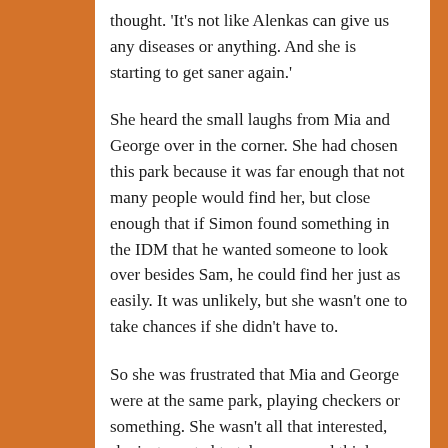thought. 'It's not like Alenkas can give us any diseases or anything. And she is starting to get saner again.'
She heard the small laughs from Mia and George over in the corner. She had chosen this park because it was far enough that not many people would find her, but close enough that if Simon found something in the IDM that he wanted someone to look over besides Sam, he could find her just as easily. It was unlikely, but she wasn't one to take chances if she didn't have to.
So she was frustrated that Mia and George were at the same park, playing checkers or something. She wasn't all that interested, she just wanted to take a nap and think about possible hobbies that